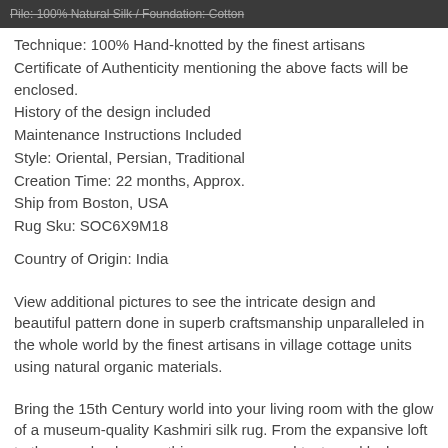Pile: 100% Natural Silk / Foundation: Cotton
Technique: 100% Hand-knotted by the finest artisans
Certificate of Authenticity mentioning the above facts will be enclosed.
History of the design included
Maintenance Instructions Included
Style: Oriental, Persian, Traditional
Creation Time: 22 months, Approx.
Ship from Boston, USA
Rug Sku: SOC6X9M18
Country of Origin: India
View additional pictures to see the intricate design and beautiful pattern done in superb craftsmanship unparalleled in the whole world by the finest artisans in village cottage units using natural organic materials.
Bring the 15th Century world into your living room with the glow of a museum-quality Kashmiri silk rug. From the expansive loft to the grand palace, nothing conveys good taste and lush culture like Kashmiri silk rugs.